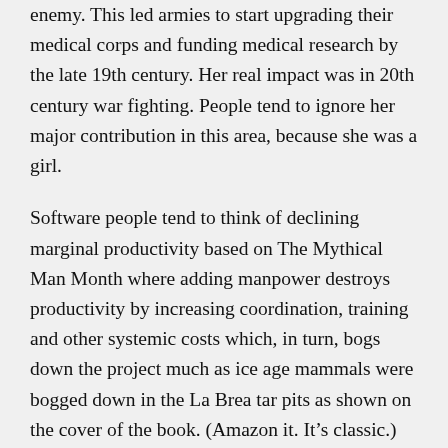enemy. This led armies to start upgrading their medical corps and funding medical research by the late 19th century. Her real impact was in 20th century war fighting. People tend to ignore her major contribution in this area, because she was a girl.
Software people tend to think of declining marginal productivity based on The Mythical Man Month where adding manpower destroys productivity by increasing coordination, training and other systemic costs which, in turn, bogs down the project much as ice age mammals were bogged down in the La Brea tar pits as shown on the cover of the book. (Amazon it. It's classic.)
That's because software development is not a linear process, but an awful lot of other lines of work are. If you hire more workers you can get all sorts of